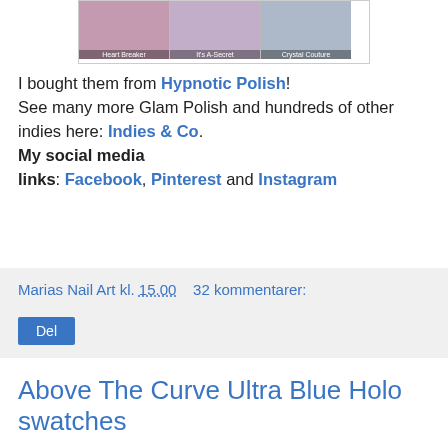[Figure (photo): Three nail polish swatches side-by-side labeled Heart Breaker, Its A-Secret, and Crystal Couture]
I bought them from Hypnotic Polish! See many more Glam Polish and hundreds of other indies here: Indies & Co. My social media links: Facebook, Pinterest and Instagram
Marias Nail Art kl. 15.00   32 kommentarer:
Del
Above The Curve Ultra Blue Holo swatches
Let's start this Sunday with a bright and strong holo....!